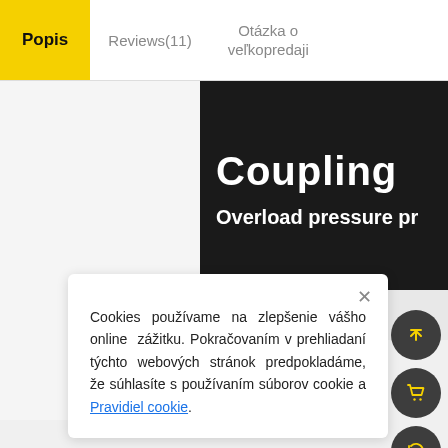Popis | Reviews(11) | Otázka o veľkopredaji
[Figure (screenshot): Dark banner image with text 'Coupling' and 'Overload pressure pr' visible, on dark background, partially cut off on the right side.]
Cookies používame na zlepšenie vášho online zážitku. Pokračovaním v prehliadaní týchto webových stránok predpokladáme, že súhlasíte s používaním súborov cookie a Pravidiel cookie .